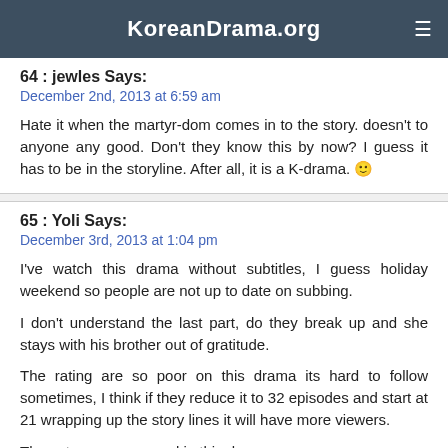KoreanDrama.org
64 : jewles Says:
December 2nd, 2013 at 6:59 am
Hate it when the martyr-dom comes in to the story. doesn't to anyone any good. Don't they know this by now? I guess it has to be in the storyline. After all, it is a K-drama. 🙂
65 : Yoli Says:
December 3rd, 2013 at 1:04 pm
I've watch this drama without subtitles, I guess holiday weekend so people are not up to date on subbing.
I don't understand the last part, do they break up and she stays with his brother out of gratitude.
The rating are so poor on this drama its hard to follow sometimes, I think if they reduce it to 32 episodes and start at 21 wrapping up the story lines it will have more viewers.
The actor are very good in this drama.